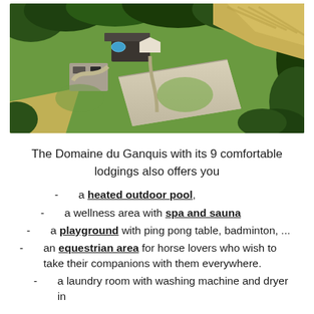[Figure (photo): Aerial drone photo of Domaine du Ganquis showing buildings, a swimming pool, parking area, green lawns, a large rectangular flat surface (tennis/sports court), and surrounding trees and fields.]
The Domaine du Ganquis with its 9 comfortable lodgings also offers you
a heated outdoor pool,
a wellness area with spa and sauna
a playground with ping pong table, badminton, ...
an equestrian area for horse lovers who wish to take their companions with them everywhere.
a laundry room with washing machine and dryer in